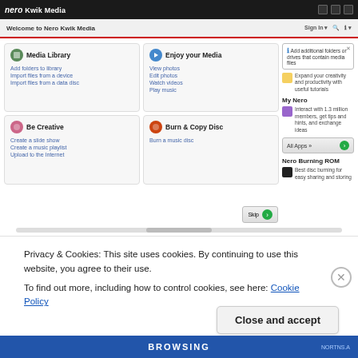[Figure (screenshot): Nero Kwik Media application screenshot showing the main interface with Media Library, Enjoy your Media, Be Creative, and Burn & Copy Disc panels, plus a sidebar with My Nero and Nero Burning ROM sections, and a tooltip saying 'Add additional folders or drives that contain media files']
Privacy & Cookies: This site uses cookies. By continuing to use this website, you agree to their use.
To find out more, including how to control cookies, see here: Cookie Policy
Close and accept